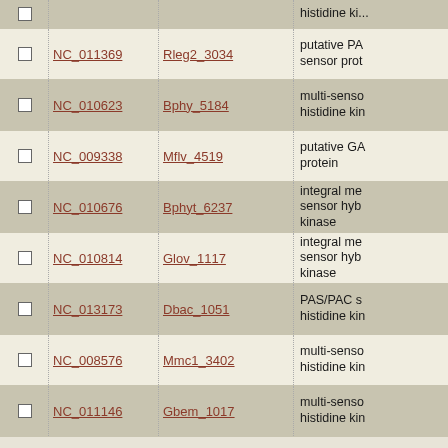|  | NC ID | Gene | Description |
| --- | --- | --- | --- |
|  |  |  | histidine ki... |
|  | NC_011369 | Rleg2_3034 | putative PAS sensor prot... |
|  | NC_010623 | Bphy_5184 | multi-senso... histidine kin... |
|  | NC_009338 | Mflv_4519 | putative GA... protein |
|  | NC_010676 | Bphyt_6237 | integral me... sensor hyb... kinase |
|  | NC_010814 | Glov_1117 | integral me... sensor hyb... kinase |
|  | NC_013173 | Dbac_1051 | PAS/PAC s... histidine kin... |
|  | NC_008576 | Mmc1_3402 | multi-senso... histidine kin... |
|  | NC_011146 | Gbem_1017 | multi-senso... histidine kin... |